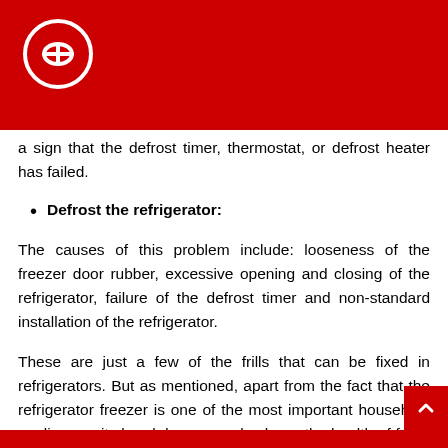[Figure (logo): Red header bar with white circular logo containing a stylized 'b' icon]
a sign that the defrost timer, thermostat, or defrost heater has failed.
Defrost the refrigerator:
The causes of this problem include: looseness of the freezer door rubber, excessive opening and closing of the refrigerator, failure of the defrost timer and non-standard installation of the refrigerator.
These are just a few of the frills that can be fixed in refrigerators. But as mentioned, apart from the fact that the refrigerator freezer is one of the most important household appliances, its breakdown can also harm the health of food. Serving your